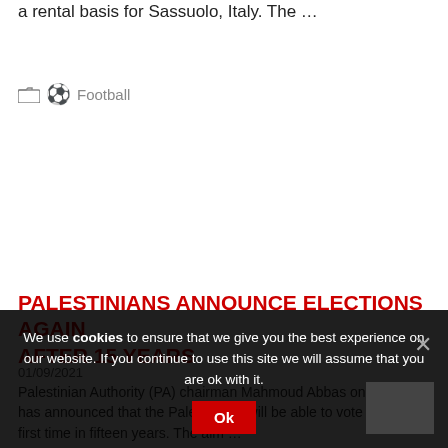a rental basis for Sassuolo, Italy. The …
Football
PALESTINIANS ANNOUNCE ELECTIONS AGAIN AFTER 15 YEARS
01/09/2021
Palestinian Authority (PA) chairman Mahmoud Abbas on Sunday has announced that the Palestinians will be able to vote for the first time in fifteen years. The aim …
We use cookies to ensure that we give you the best experience on our website. If you continue to use this site we will assume that you are ok with it.